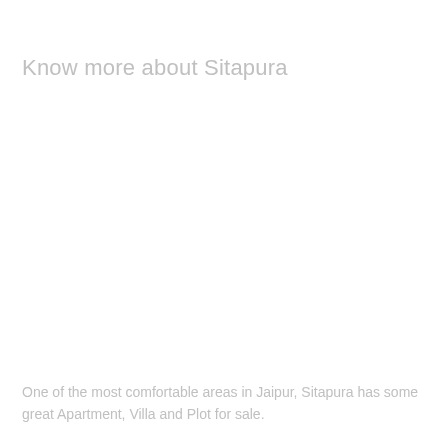Know more about Sitapura
One of the most comfortable areas in Jaipur, Sitapura has some great Apartment, Villa and Plot for sale.